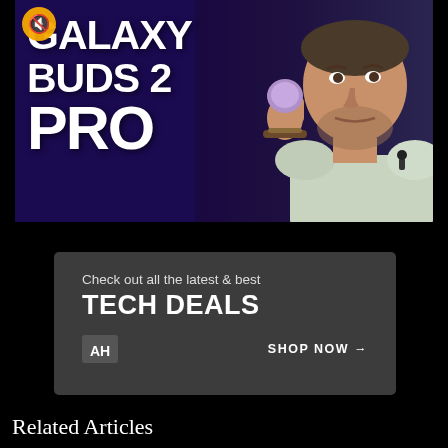[Figure (screenshot): Video thumbnail showing Galaxy Buds 2 Pro text overlay on left with bold white text on purple/dark background, and a man holding a small purple earbud on the right side. A mute icon is visible in the top-left corner.]
[Figure (infographic): Dark grey advertisement banner reading 'Check out all the latest & best TECH DEALS' with AH logo on left and 'SHOP NOW →' on right.]
Related Articles